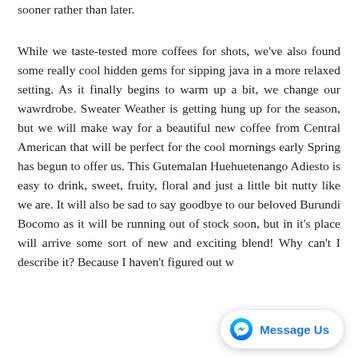sooner rather than later.
While we taste-tested more coffees for shots, we've also found some really cool hidden gems for sipping java in a more relaxed setting. As it finally begins to warm up a bit, we change our wawrdrobe. Sweater Weather is getting hung up for the season, but we will make way for a beautiful new coffee from Central American that will be perfect for the cool mornings early Spring has begun to offer us. This Gutemalan Huehuetenango Adiesto is easy to drink, sweet, fruity, floral and just a little bit nutty like we are. It will also be sad to say goodbye to our beloved Burundi Bocomo as it will be running out of stock soon, but in it's place will arrive some sort of new and exciting blend! Why can't I describe it? Because I haven't figured out w